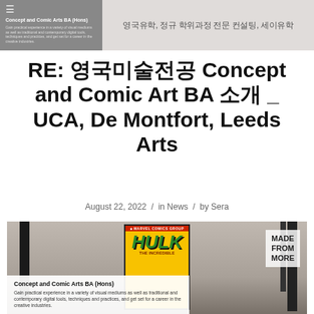Concept and Comic Arts BA (Hons) | 영국유학, 정규 학위과정 전문 컨설팅, 세이유학
RE: 영국미술전공 Concept and Comic Art BA 소개 _ UCA, De Montfort, Leeds Arts
August 22, 2022 / in News / by Sera
[Figure (photo): Photo of framed comic book covers on a wall, featuring a Hulk comic. Overlay text reads 'MADE FROM MORE'. Bottom overlay card shows 'Concept and Comic Arts BA (Hons)' with description text: 'Gain practical experience in a variety of visual mediums as well as traditional and contemporary digital tools, techniques and practices, and get set for a career in the creative industries.']